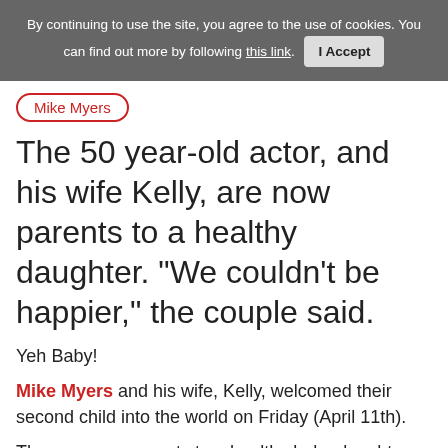By continuing to use the site, you agree to the use of cookies. You can find out more by following this link. I Accept
Mike Myers
The 50 year-old actor, and his wife Kelly, are now parents to a healthy daughter. "We couldn't be happier," the couple said.
Yeh Baby!
Mike Myers and his wife, Kelly, welcomed their second child into the world on Friday (April 11th).
They are now parents to a healthy baby daughter called Sunday Molly